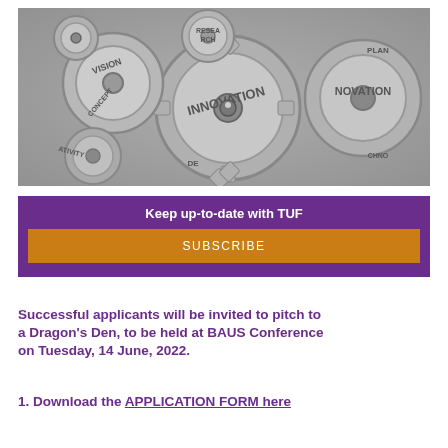[Figure (photo): Black and white photograph of interlocking metallic gears with words embossed on them including VISION, RESEARCH, PLAN, CONCEPT, INNOVATION, TECHNOLOGY, ACTIVITY, DESIGN]
Keep up-to-date with TUF
SUBSCRIBE
Successful applicants will be invited to pitch to a Dragon's Den, to be held at BAUS Conference on Tuesday, 14 June, 2022.
1. Download the APPLICATION FORM here